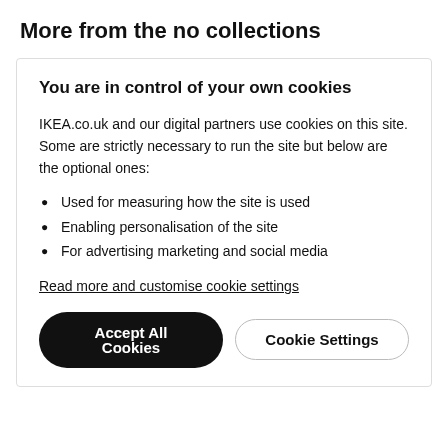More from the no collections
You are in control of your own cookies
IKEA.co.uk and our digital partners use cookies on this site. Some are strictly necessary to run the site but below are the optional ones:
Used for measuring how the site is used
Enabling personalisation of the site
For advertising marketing and social media
Read more and customise cookie settings
Accept All Cookies
Cookie Settings